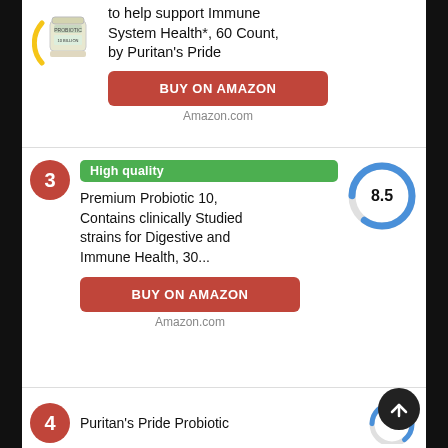to help support Immune System Health*, 60 Count, by Puritan's Pride
BUY ON AMAZON
Amazon.com
[Figure (other): Red circle badge with number 3]
High quality
Premium Probiotic 10, Contains clinically Studied strains for Digestive and Immune Health, 30...
[Figure (donut-chart): Score 8.5]
BUY ON AMAZON
Amazon.com
[Figure (other): Red circle badge with number 4]
Puritan's Pride Probiotic